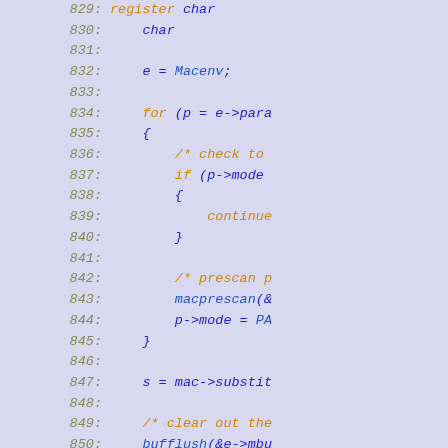[Figure (screenshot): Source code listing showing C code lines 829-859 with syntax highlighting. Line numbers in italic yellow-brown, keywords in orange, identifiers in blue, on a light blue-purple background.]